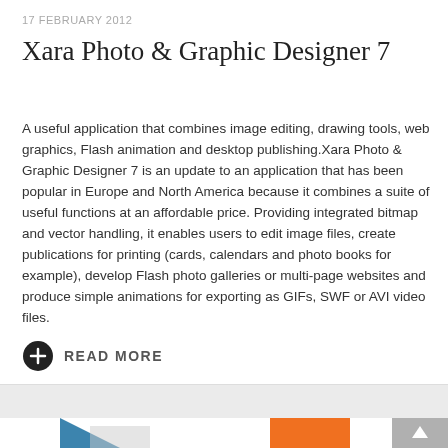17 FEBRUARY 2012
Xara Photo & Graphic Designer 7
A useful application that combines image editing, drawing tools, web graphics, Flash animation and desktop publishing.Xara Photo & Graphic Designer 7 is an update to an application that has been popular in Europe and North America because it combines a suite of useful functions at an affordable price. Providing integrated bitmap and vector handling, it enables users to edit image files, create publications for printing (cards, calendars and photo books for example), develop Flash photo galleries or multi-page websites and produce simple animations for exporting as GIFs, SWF or AVI video files.
READ MORE
[Figure (other): Partial view of logos or icons at bottom of page including a blue triangular shape and an orange square icon, with a gray scroll-to-top arrow button in bottom right]